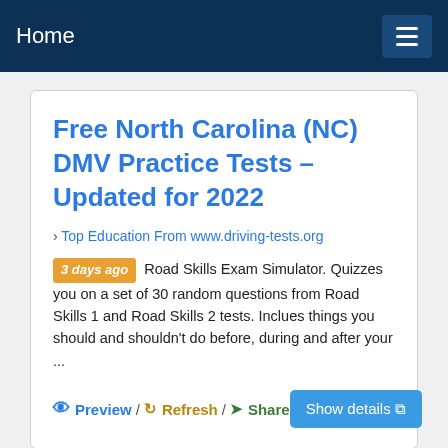Home
Free North Carolina (NC) DMV Practice Tests – Updated for 2022
› Top Education From www.driving-tests.org
3 days ago  Road Skills Exam Simulator. Quizzes you on a set of 30 random questions from Road Skills 1 and Road Skills 2 tests. Inclues things you should and shouldn't do before, during and after your ...
Preview / Refresh / Share  Show details